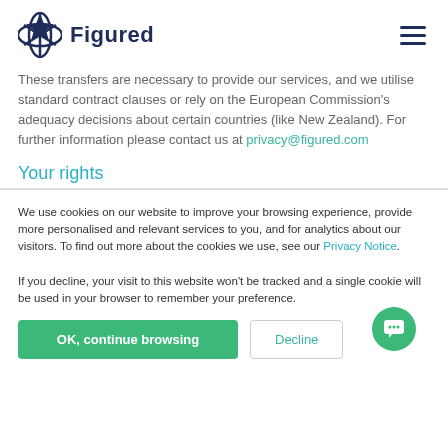Figured
These transfers are necessary to provide our services, and we utilise standard contract clauses or rely on the European Commission's adequacy decisions about certain countries (like New Zealand). For further information please contact us at privacy@figured.com
Your rights
We use cookies on our website to improve your browsing experience, provide more personalised and relevant services to you, and for analytics about our visitors. To find out more about the cookies we use, see our Privacy Notice.

If you decline, your visit to this website won't be tracked and a single cookie will be used in your browser to remember your preference.